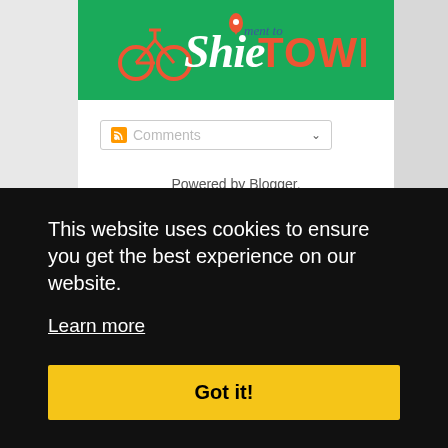[Figure (logo): ShieTOWN blog logo on green background with bicycle icon and location pin]
[Figure (screenshot): Comments RSS feed dropdown widget]
Powered by Blogger.
Blog Archive
[Figure (screenshot): Blog Archive dropdown showing July 2013 (5)]
This website uses cookies to ensure you get the best experience on our website.
Learn more
Got it!